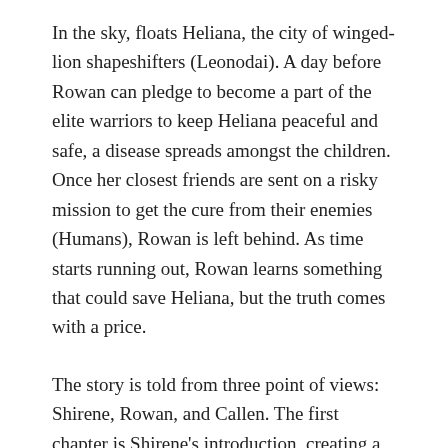In the sky, floats Heliana, the city of winged-lion shapeshifters (Leonodai). A day before Rowan can pledge to become a part of the elite warriors to keep Heliana peaceful and safe, a disease spreads amongst the children. Once her closest friends are sent on a risky mission to get the cure from their enemies (Humans), Rowan is left behind. As time starts running out, Rowan learns something that could save Heliana, but the truth comes with a price.
The story is told from three point of views: Shirene, Rowan, and Callen. The first chapter is Shirene's introduction, creating a sense that either she's the main character or a really important factor for the story. Shirene was an interesting character, she seemed strong and badass. From get go, as she is put in a position of power by the King's side. I liked her. Even